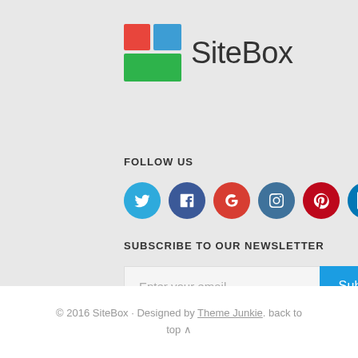[Figure (logo): SiteBox logo with colored square grid icon (red, blue, green squares) and 'SiteBox' text in dark gray]
FOLLOW US
[Figure (infographic): Row of 8 social media icon circles: Twitter (light blue), Facebook (dark blue), Google+ (red-orange), Instagram (dark teal), Pinterest (dark red), LinkedIn (medium blue), Tumblr (dark navy), RSS (orange)]
SUBSCRIBE TO OUR NEWSLETTER
[Figure (infographic): Email input field with placeholder 'Enter your email' and blue 'Subscribe' button]
© 2016 SiteBox · Designed by Theme Junkie. back to top ∧